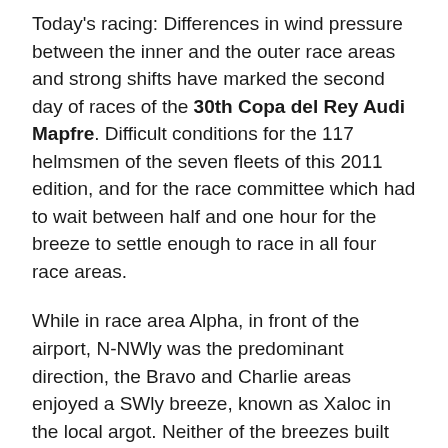Today's racing: Differences in wind pressure between the inner and the outer race areas and strong shifts have marked the second day of races of the 30th Copa del Rey Audi Mapfre. Difficult conditions for the 117 helmsmen of the seven fleets of this 2011 edition, and for the race committee which had to wait between half and one hour for the breeze to settle enough to race in all four race areas.
While in race area Alpha, in front of the airport, N-NWly was the predominant direction, the Bravo and Charlie areas enjoyed a SWly breeze, known as Xaloc in the local argot. Neither of the breezes built above the 11 knots today.
It was a good day for José Cusí's Bribón, whose two bullets set them in second after day